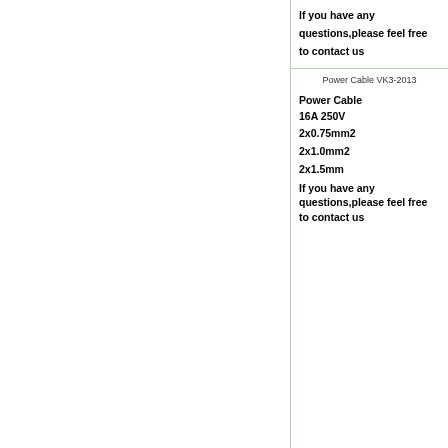If you have any questions,please feel free to contact us
H
Power Cable VK3-2013
Power Cable
16A 250V

2x0.75mm2

2x1.0mm2

2x1.5mm

If you have any questions,please feel free to contact us
D
H
If fe